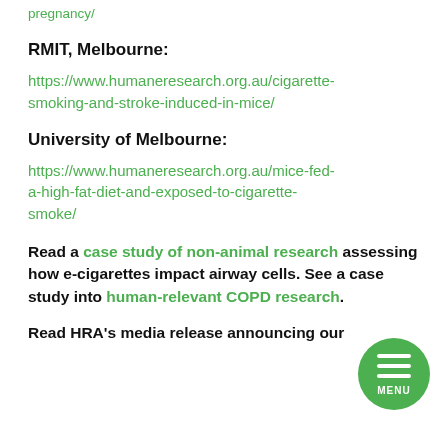pregnancy/
RMIT, Melbourne:
https://www.humaneresearch.org.au/cigarette-smoking-and-stroke-induced-in-mice/
University of Melbourne:
https://www.humaneresearch.org.au/mice-fed-a-high-fat-diet-and-exposed-to-cigarette-smoke/
Read a case study of non-animal research assessing how e-cigarettes impact airway cells. See a case study into human-relevant COPD research.
Read HRA's media release announcing our